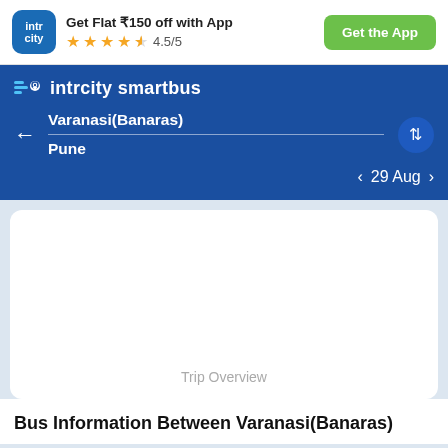[Figure (screenshot): IntrCity app banner with logo, offer text, star rating, and Get the App button]
Get Flat ₹150 off with App
4.5/5
Get the App
intrcity smartbus
Varanasi(Banaras)
Pune
29 Aug
Trip Overview
Bus Information Between Varanasi(Banaras)